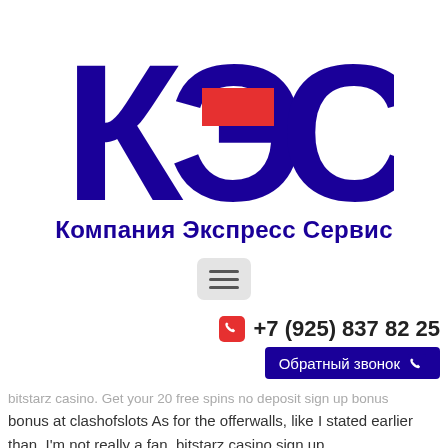[Figure (logo): КЭС logo — large Cyrillic letters К, Э, С in dark navy/blue with a red rectangle accent on the Э letter, and subtitle 'Компания Экспресс Сервис' below]
[Figure (other): Hamburger menu button (three horizontal lines) in a light grey rounded rectangle]
+7 (925) 837 82 25
Обратный звонок
bitstarz casino. Get your 20 free spins no deposit sign up bonus bonus at clashofslots As for the offerwalls, like I stated earlier than, I'm not really a fan, bitstarz casino sign up.